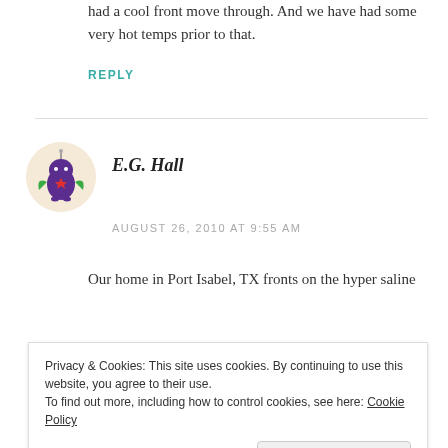had a cool front move through. And we have had some very hot temps prior to that.
REPLY
[Figure (illustration): Circular avatar with beige background showing a cartoon purple blob character with green wings/arms and a red star, on white background]
E.G. Hall
AUGUST 26, 2010 AT 9:55 AM
Our home in Port Isabel, TX fronts on the hyper saline
Privacy & Cookies: This site uses cookies. By continuing to use this website, you agree to their use.
To find out more, including how to control cookies, see here: Cookie Policy
Close and accept